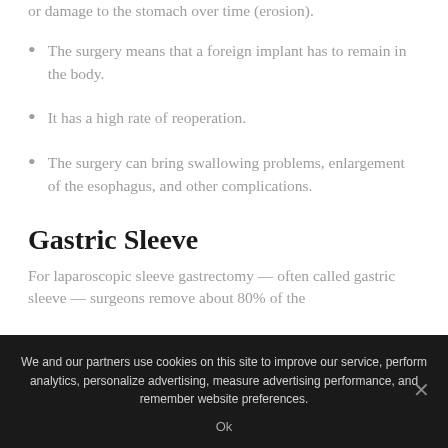or damage to the stomach over time (erosion).
The surgery means that a foreign implant has to remain in the body.
It has a high rate of reoperation.
The surgery can bring swallowing problems, enlargement of the esophagus, and other complications.
Gastric Sleeve
For laparoscopic sleeve gastrectomy — often called gastric sleeve — surgeons remove about 80% of the
We and our partners use cookies on this site to improve our service, perform analytics, personalize advertising, measure advertising performance, and remember website preferences.
Ok